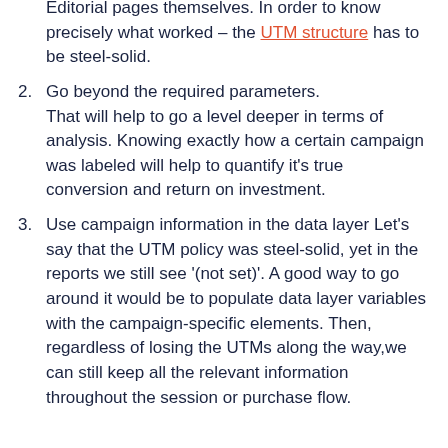Editorial pages themselves. In order to know precisely what worked – the UTM structure has to be steel-solid.
2. Go beyond the required parameters. That will help to go a level deeper in terms of analysis. Knowing exactly how a certain campaign was labeled will help to quantify it's true conversion and return on investment.
3. Use campaign information in the data layer Let's say that the UTM policy was steel-solid, yet in the reports we still see '(not set)'. A good way to go around it would be to populate data layer variables with the campaign-specific elements. Then, regardless of losing the UTMs along the way,we can still keep all the relevant information throughout the session or purchase flow.